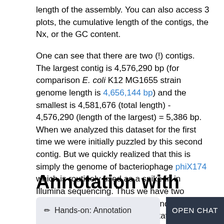length of the assembly. You can also access 3 plots, the cumulative length of the contigs, the Nx, or the GC content.
One can see that there are two (!) contigs. The largest contig is 4,576,290 bp (for comparison E. coli K12 MG1655 strain genome length is 4,656,144 bp) and the smallest is 4,581,676 (total length) - 4,576,290 (length of the largest) = 5,386 bp. When we analyzed this dataset for the first time we were initially puzzled by this second contig. But we quickly realized that this is simply the genome of bacteriophage phiX174 which is routinely used as a spike-in in Illumina sequencing. Thus we have two genomes: the one of E.coli C-1 and phiX174! We can now use Prokka to annotate our two genomes.
Annotation with Prokka
✏ Hands-on: Annotation
OPEN CHAT